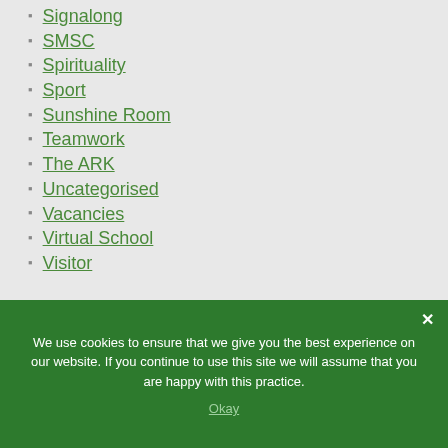Signalong
SMSC
Spirituality
Sport
Sunshine Room
Teamwork
The ARK
Uncategorised
Vacancies
Virtual School
Visitor
We use cookies to ensure that we give you the best experience on our website. If you continue to use this site we will assume that you are happy with this practice.
Okay